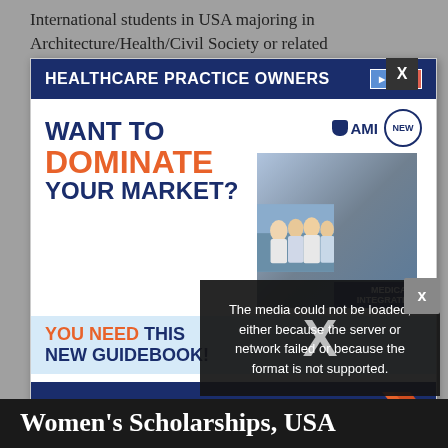International students in USA majoring in Architecture/Health/Civil Society or related
[Figure (screenshot): Advertisement for AMI Healthcare Practice Owners guidebook titled 'Medical Integration Guidebook 2022' with text 'Want to Dominate Your Market? You Need This New Guidebook!' overlaid with a video error message: 'The media could not be loaded, either because the server or network failed or because the format is not supported.']
Women’s Scholarships, USA